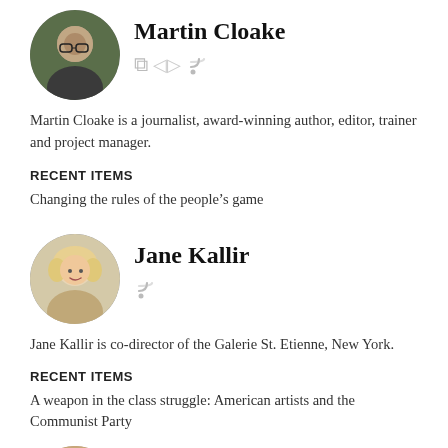[Figure (photo): Circular profile photo of Martin Cloake, a man with glasses]
Martin Cloake
Martin Cloake is a journalist, award-winning author, editor, trainer and project manager.
RECENT ITEMS
Changing the rules of the people’s game
[Figure (photo): Circular profile photo of Jane Kallir, a woman with curly blonde hair]
Jane Kallir
Jane Kallir is co-director of the Galerie St. Etienne, New York.
RECENT ITEMS
A weapon in the class struggle: American artists and the Communist Party
[Figure (photo): Circular profile photo of Daniel Rosenberg, partially visible]
Daniel Rosenberg